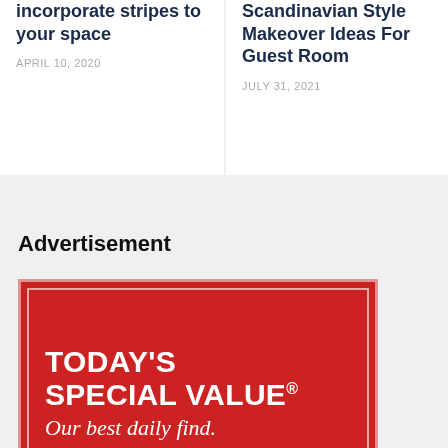incorporate stripes to your space
APRIL 10, 2020
Scandinavian Style Makeover Ideas For Guest Room
JULY 31, 2021
Advertisement
[Figure (infographic): Red advertisement banner with white text reading TODAY'S SPECIAL VALUE® Our best daily find.]